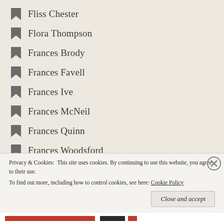Fliss Chester
Flora Thompson
Frances Brody
Frances Favell
Frances Ive
Frances McNeil
Frances Quinn
Frances Woodsford
Francesca Catlow
Francesca Scanacapra
Francesca Stanfill
Francis Duncan
Francis Vivian
Privacy & Cookies: This site uses cookies. By continuing to use this website, you agree to their use. To find out more, including how to control cookies, see here: Cookie Policy
Close and accept